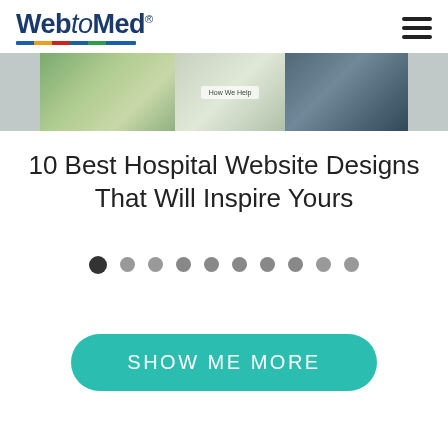[Figure (logo): WebtoMed logo with colored underline stripe]
[Figure (screenshot): Screenshot of a hospital website showing outdoor and indoor scenes]
10 Best Hospital Website Designs That Will Inspire Yours
[Figure (infographic): Pagination dots row with 10 dots, first dot is filled/active]
[Figure (other): SHOW ME MORE button in teal/turquoise rounded rectangle]